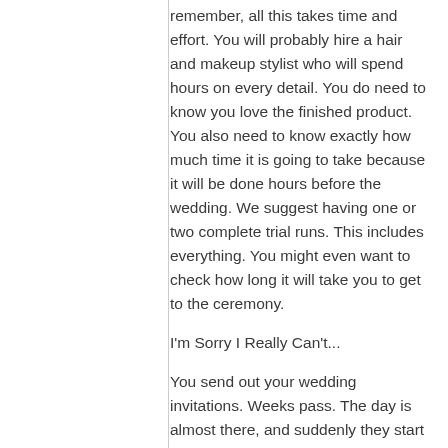remember, all this takes time and effort. You will probably hire a hair and makeup stylist who will spend hours on every detail. You do need to know you love the finished product. You also need to know exactly how much time it is going to take because it will be done hours before the wedding. We suggest having one or two complete trial runs. This includes everything. You might even want to check how long it will take you to get to the ceremony.
I'm Sorry I Really Can't...
You send out your wedding invitations. Weeks pass. The day is almost there, and suddenly they start flooding back. Some are yes, but others say no. That is the last thing you want because you have already booked the caterers. You have a fixed amount of meals, and it cannot be